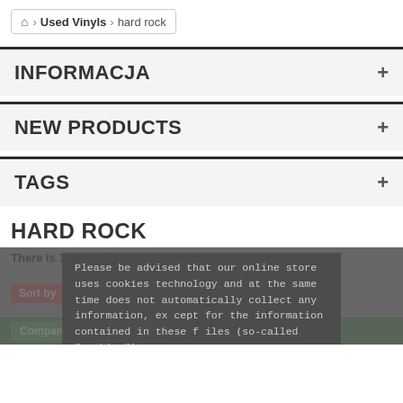🏠 Used Vinyls › hard rock
INFORMACJA
NEW PRODUCTS
TAGS
HARD ROCK
There is 1 product.
Please be advised that our online store uses cookies technology and at the same time does not automatically collect any information, except for the information contained in these files (so-called "cookies").
Sort by —
Compare (0) >